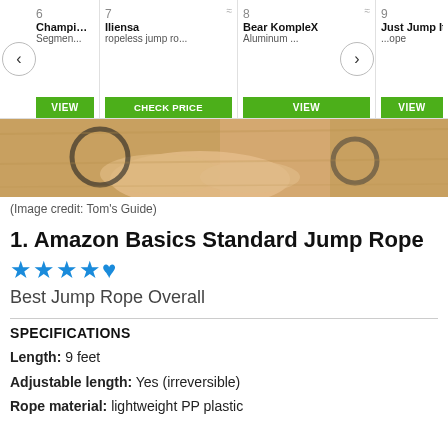[Figure (screenshot): Product carousel showing items 6-9: Champion Sports Segmen..., Iliensa ropeless jump ro..., Bear KompleX Aluminum..., Just Jump It ...ope with VIEW/CHECK PRICE/VIEW/VIEW buttons]
[Figure (photo): Close-up photo of a hand holding a jump rope handle on a wooden surface]
(Image credit: Tom's Guide)
1. Amazon Basics Standard Jump Rope
★★★★½
Best Jump Rope Overall
SPECIFICATIONS
Length: 9 feet
Adjustable length: Yes (irreversible)
Rope material: lightweight PP plastic